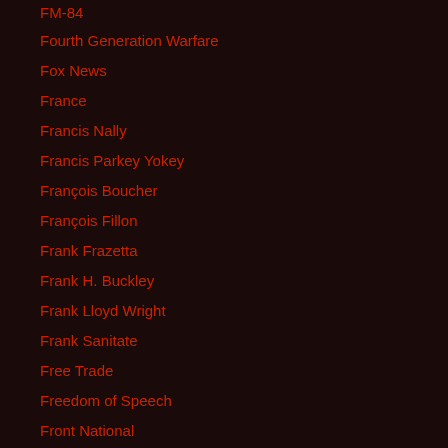FM-84
Fourth Generation Warfare
Fox News
France
Francis Nally
Francis Parkey Yokey
François Boucher
François Fillon
Frank Frazetta
Frank H. Buckley
Frank Lloyd Wright
Frank Sanitate
Free Trade
Freedom of Speech
Front National